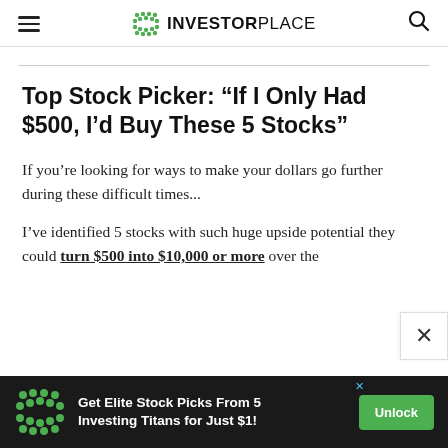INVESTORPLACE
Top Stock Picker: “If I Only Had $500, I’d Buy These 5 Stocks”
If you’re looking for ways to make your dollars go further during these difficult times...
I’ve identified 5 stocks with such huge upside potential they could turn $500 into $10,000 or more over the next few years!
[Figure (other): Advertisement banner: Get Elite Stock Picks From 5 Investing Titans for Just $1! with Unlock button]